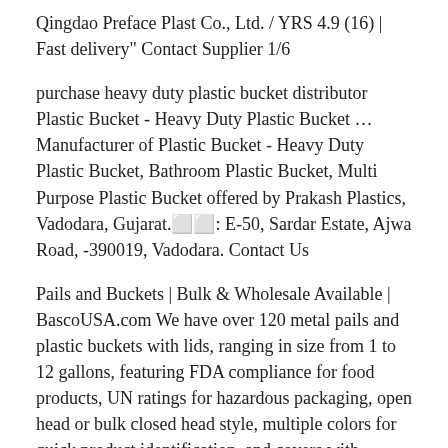Qingdao Preface Plast Co., Ltd. / YRS 4.9 (16) |  Fast delivery" Contact Supplier 1/6
purchase heavy duty plastic bucket distributor Plastic Bucket - Heavy Duty Plastic Bucket … Manufacturer of Plastic Bucket - Heavy Duty Plastic Bucket, Bathroom Plastic Bucket, Multi Purpose Plastic Bucket offered by Prakash Plastics, Vadodara, Gujarat.⬜⬜: E-50, Sardar Estate, Ajwa Road, -390019, Vadodara. Contact Us
Pails and Buckets | Bulk & Wholesale Available | BascoUSA.com We have over 120 metal pails and plastic buckets with lids, ranging in size from 1 to 12 gallons, featuring FDA compliance for food products, UN ratings for hazardous packaging, open head or bulk closed head style, multiple colors for quick product identification, and covers with fittings. Open Head Steel Pails. Sturdy, dependable steel buckets.